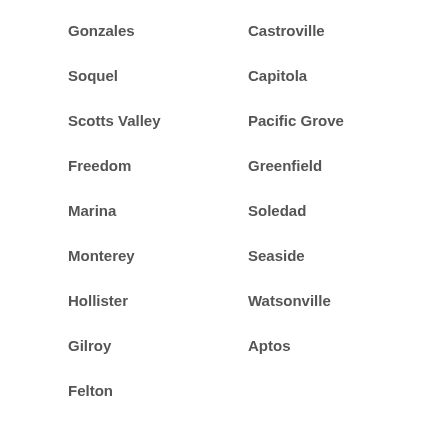Gonzales
Castroville
Soquel
Capitola
Scotts Valley
Pacific Grove
Freedom
Greenfield
Marina
Soledad
Monterey
Seaside
Hollister
Watsonville
Gilroy
Aptos
Felton